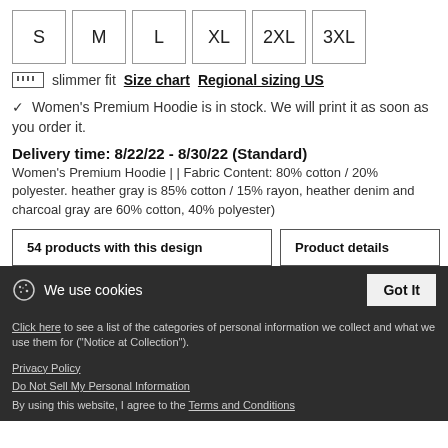S, M, L, XL, 2XL, 3XL size options
slimmer fit   Size chart   Regional sizing US
✓ Women's Premium Hoodie is in stock. We will print it as soon as you order it.
Delivery time: 8/22/22 - 8/30/22 (Standard)
Women's Premium Hoodie | | Fabric Content: 80% cotton / 20% polyester. heather gray is 85% cotton / 15% rayon, heather denim and charcoal gray are 60% cotton, 40% polyester)
54 products with this design
Product details
We use cookies
Got It
Click here to see a list of the categories of personal information we collect and what we use them for ("Notice at Collection").
Privacy Policy
Do Not Sell My Personal Information
By using this website, I agree to the Terms and Conditions